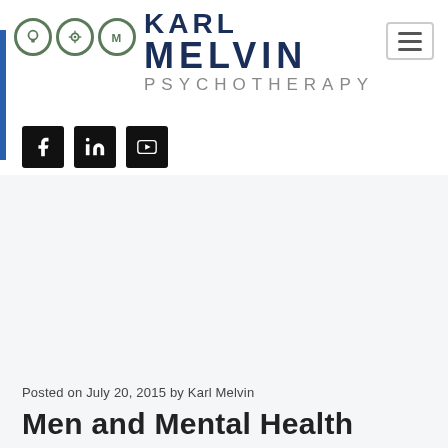[Figure (logo): Karl Melvin Psychotherapy logo with circular icons and text]
[Figure (other): Social media icons: Facebook, LinkedIn, YouTube]
Posted on July 20, 2015 by Karl Melvin
Men and Mental Health
[Figure (photo): Sky photo with light streaks/contrails on a light blue background]